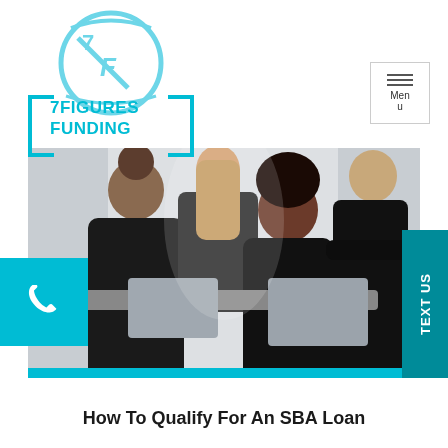[Figure (logo): 7Figures Funding logo: circular emblem with stylized '7F' in cyan/light blue, with text '7FIGURES FUNDING' in cyan below inside bracket/box accents]
[Figure (photo): Four young professionals gathered around a table with laptops, smiling and collaborating in a bright office environment]
How To Qualify For An SBA Loan